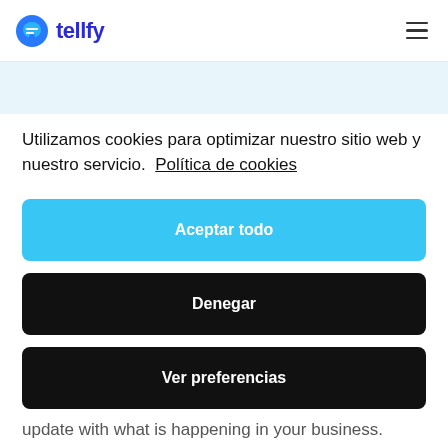tellfy
[Figure (screenshot): Light blue banner strip below header navigation]
Utilizamos cookies para optimizar nuestro sitio web y nuestro servicio.  Política de cookies
Aceptar todo
Denegar
Ver preferencias
update with what is happening in your business.